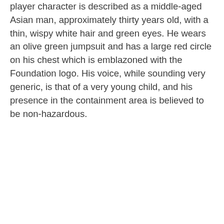player character is described as a middle-aged Asian man, approximately thirty years old, with a thin, wispy white hair and green eyes. He wears an olive green jumpsuit and has a large red circle on his chest which is emblazoned with the Foundation logo. His voice, while sounding very generic, is that of a very young child, and his presence in the containment area is believed to be non-hazardous.